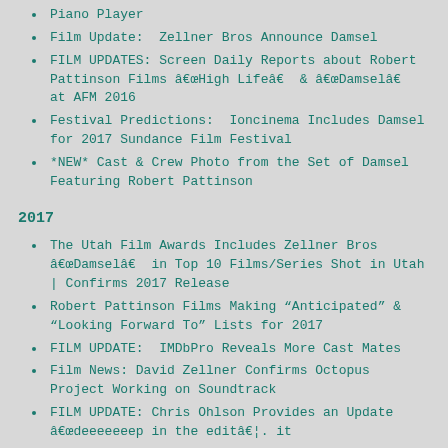Piano Player
Film Update: Zellner Bros Announce Damsel
FILM UPDATES: Screen Daily Reports about Robert Pattinson Films âHigh Lifeâ & âDamselâ at AFM 2016
Festival Predictions: Ioncinema Includes Damsel for 2017 Sundance Film Festival
*NEW* Cast & Crew Photo from the Set of Damsel Featuring Robert Pattinson
2017
The Utah Film Awards Includes Zellner Bros âDamselâ in Top 10 Films/Series Shot in Utah | Confirms 2017 Release
Robert Pattinson Films Making “Anticipated” & “Looking Forward To” Lists for 2017
FILM UPDATE: IMDbPro Reveals More Cast Mates
Film News: David Zellner Confirms Octopus Project Working on Soundtrack
FILM UPDATE: Chris Ohlson Provides an Update âdeeeeeeep in the editâ¦. it